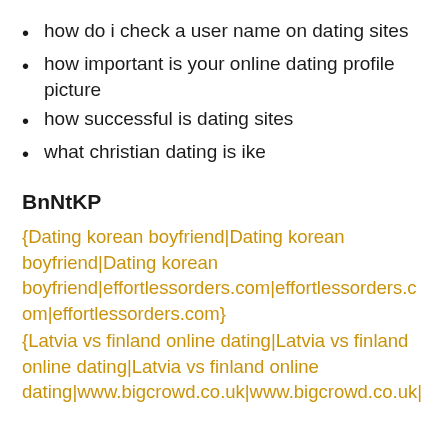how do i check a user name on dating sites
how important is your online dating profile picture
how successful is dating sites
what christian dating is ike
BnNtKP
{Dating korean boyfriend|Dating korean boyfriend|Dating korean boyfriend|effortlessorders.com|effortlessorders.com|effortlessorders.com}
{Latvia vs finland online dating|Latvia vs finland online dating|Latvia vs finland online dating|www.bigcrowd.co.uk|www.bigcrowd.co.uk|www.bigcrowd.co.uk}